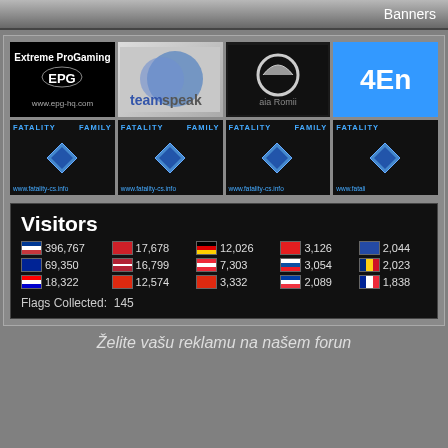Banners
[Figure (screenshot): Banner: Extreme ProGaming EPG www.epg-hq.com on black background]
[Figure (logo): Teamspeak logo on grey background]
[Figure (photo): Steam logo dark background]
[Figure (screenshot): 4En blue banner]
[Figure (screenshot): Fatality Family www.fatality-cs.info banner 1]
[Figure (screenshot): Fatality Family www.fatality-cs.info banner 2]
[Figure (screenshot): Fatality Family www.fatality-cs.info banner 3]
[Figure (screenshot): Fatality Family www.fatality-cs.info banner 4 partial]
| Flag | Count | Flag | Count | Flag | Count | Flag | Count | Flag | Count |
| --- | --- | --- | --- | --- | --- | --- | --- | --- | --- |
| 🇷🇸 | 396,767 | 🇲🇰 | 17,678 | 🇩🇪 | 12,026 | 🇦🇱 | 3,126 | 🇽🇰 | 2,044 |
| 🇧🇦 | 69,350 | 🇺🇸 | 16,799 | 🇦🇹 | 7,303 | 🇸🇰 | 3,054 | 🇷🇴 | 2,023 |
| 🇭🇷 | 18,322 | 🇨🇳 | 12,574 | 🇨🇳 | 3,332 | 🇸🇮 | 2,089 | 🇫🇷 | 1,838 |
Flags Collected: 145
Želite vašu reklamu na našem foru